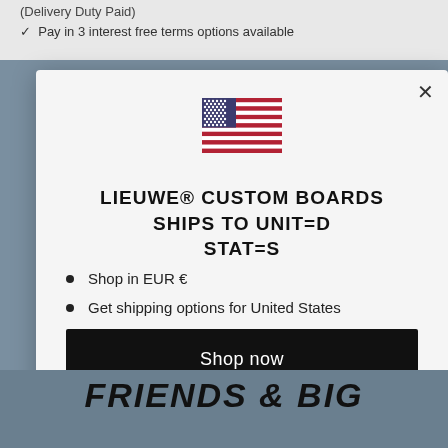(Delivery Duty Paid)
✓  Pay in 3 interest-free terms options available
[Figure (illustration): Modal dialog with US flag, title text 'LIEUWE® CUSTOM BOARDS SHIPS TO UNITED STATES', bullet points listing 'Shop in EUR €' and 'Get shipping options for United States', a black 'Shop now' button, and a 'Change shipping country' underlined link]
FRIENDS & BIG